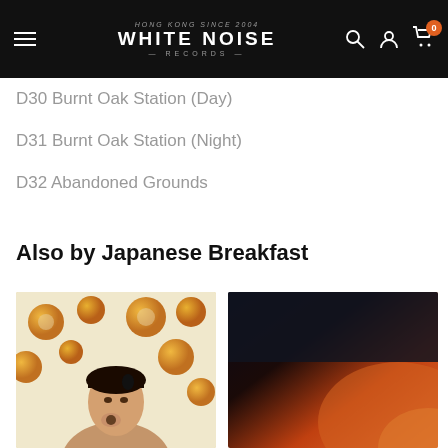WHITE NOISE RECORDS — Hong Kong since 2004
D30 Burnt Oak Station (Day)
D31 Burnt Oak Station (Night)
D32 Abandoned Grounds
Also by Japanese Breakfast
[Figure (photo): Album cover 1 — woman with floating orange/yellow orbs]
[Figure (photo): Album cover 2 — dark background with warm orange/red tones]